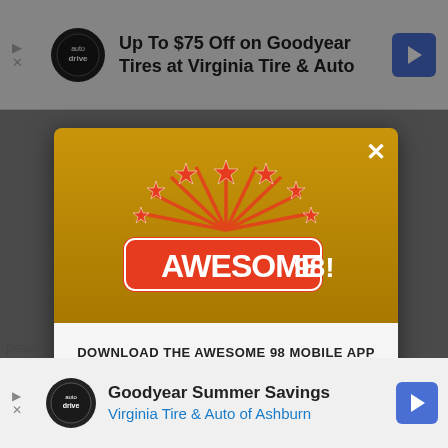[Figure (screenshot): Top advertisement banner: Up To $75 Off on Goodyear Tires at Virginia Tire & Auto]
[Figure (screenshot): Modal popup with Awesome 98 radio station logo, download prompt, and Amazon Alexa listen option]
DOWNLOAD THE AWESOME 98 MOBILE APP
GET OUR FREE MOBILE APP
Also listen on: amazon alexa
[Figure (screenshot): Bottom advertisement banner: Goodyear Summer Savings - Virginia Tire & Auto of Ashburn]